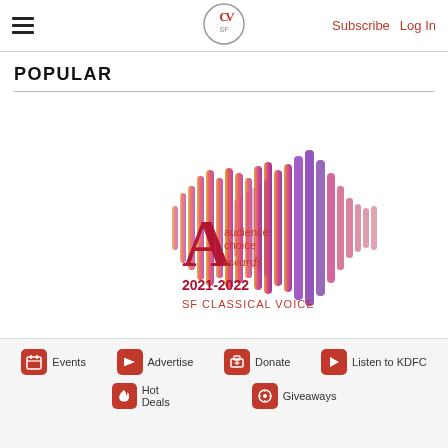SF Classical Voice — Subscribe | Log In
POPULAR
[Figure (logo): SF Classical Voice Audience Choice Awards 2021-2022 logo with colorful sound wave graphic in red, pink, yellow, and purple gradients]
Events | Advertise | Donate | Listen to KDFC | Hot Deals | Giveaways